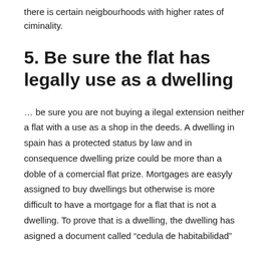there is certain neigbourhoods with higher rates of ciminality.
5. Be sure the flat has legally use as a dwelling
… be sure you are not buying a ilegal extension neither a flat with a use as a shop in the deeds. A dwelling in spain has a protected status by law and in consequence dwelling prize could be more than a doble of a comercial flat prize. Mortgages are easyly assigned to buy dwellings but otherwise is more difficult to have a mortgage for a flat that is not a dwelling. To prove that is a dwelling, the dwelling has asigned a document called “cedula de habitabilidad”